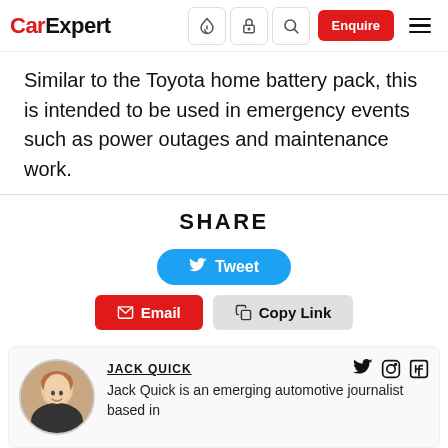CarExpert — navigation header with icons and Enquire button
Similar to the Toyota home battery pack, this is intended to be used in emergency events such as power outages and maintenance work.
SHARE
Tweet | Email | Copy Link
JACK QUICK
Jack Quick is an emerging automotive journalist based in